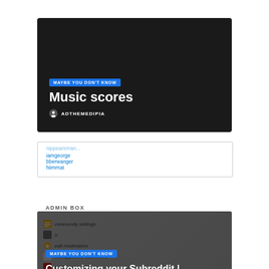[Figure (screenshot): Dark card banner with blue badge 'MAYBE YOU DON'T KNOW', title 'Music scores', and author 'ADTHEMEDIPIA']
[Figure (screenshot): Reddit sidebar widget showing partially visible usernames: iamgeorge, bberwanger, hiimmat, and an ADMIN BOX section with community settings, edit moderators, edit approved submitters, traffic stats, reported links]
[Figure (screenshot): Dark overlay card with blue badge 'MAYBE YOU DON'T KNOW', title 'Customizing your Subreddit | How to Reddit', author 'ADTHEMEDIPIA', and blue scroll-to-top button]